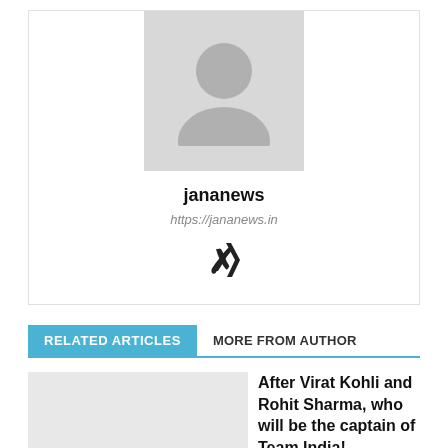[Figure (photo): Generic user avatar placeholder - grey silhouette of a person on light grey background]
jananews
https://jananews.in
[Figure (logo): Xing social network icon]
RELATED ARTICLES   MORE FROM AUTHOR
After Virat Kohli and Rohit Sharma, who will be the captain of Team India!
South African fast bowler Enrique Nortje ruled out of Test series